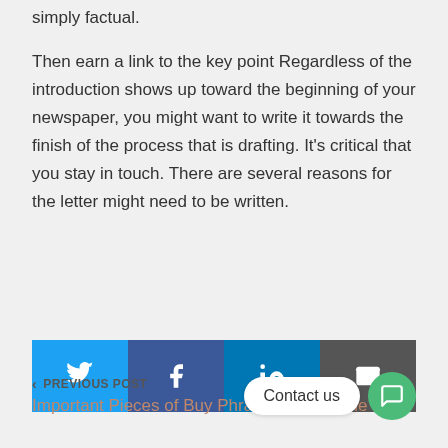simply factual.
Then earn a link to the key point Regardless of the introduction shows up toward the beginning of your newspaper, you might want to write it towards the finish of the process that is drafting. It's critical that you stay in touch. There are several reasons for the letter might need to be written.
[Figure (infographic): Four social share buttons in a row: Twitter (light blue), Facebook (dark blue), LinkedIn (medium blue), Email (dark gray), each with white icon]
< PREVIOUS POST
Important Pieces of Buy Phrase Files On the
Contact us